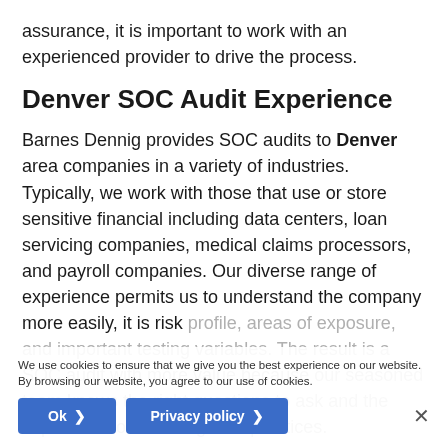assurance, it is important to work with an experienced provider to drive the process.
Denver SOC Audit Experience
Barnes Dennig provides SOC audits to Denver area companies in a variety of industries. Typically, we work with those that use or store sensitive financial including data centers, loan servicing companies, medical claims processors, and payroll companies. Our diverse range of experience permits us to understand the company more easily, it is risk profile, areas of exposure, and important testing variables. The result is a SOC audit with more value because our seasoned team knows the right questions to ask and the importance of following best practices.
We use cookies to ensure that we give you the best experience on our website. By browsing our website, you agree to our use of cookies.